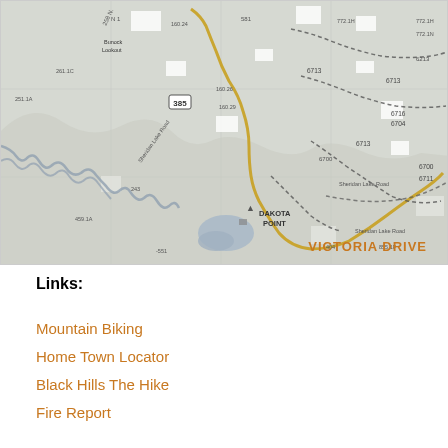[Figure (map): Topographic trail map showing Victoria Drive area in Black Hills, South Dakota. Features include Dakota Point, Sheridan Lake, elevation markers (6713, 6700, 6711, 6704, 6716, etc.), roads (Sheridan Lake Road, route 385), and a highlighted trail route in yellow/gold. Dotted lines indicate trail boundaries. Various road numbers and elevation contours visible throughout.]
VICTORIA DRIVE
Links:
Mountain Biking
Home Town Locator
Black Hills The Hike
Fire Report